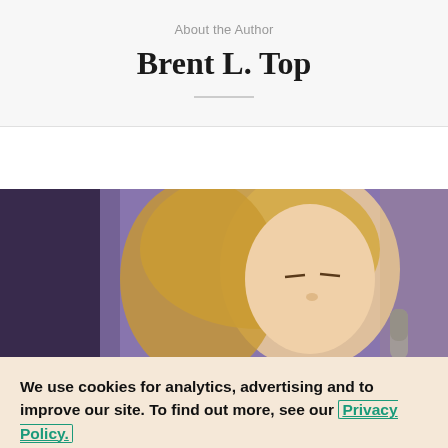About the Author
Brent L. Top
[Figure (photo): A woman with long blonde hair, eyes closed, near a microphone, with a purple background]
We use cookies for analytics, advertising and to improve our site. To find out more, see our Privacy Policy.
✓ Accept Cookies